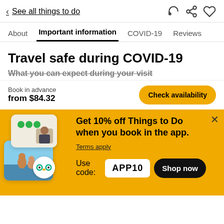< See all things to do
About  Important information  COVID-19  Reviews
Travel safe during COVID-19
What you can expect during your visit
Book in advance
from $84.32
Check availability
[Figure (screenshot): Promotional banner with yellow background showing app discount offer. Contains travel photos, TripAdvisor badge, and discount code APP10.]
Get 10% off Things to Do when you book in the app.
Terms apply
Use code: APP10
Shop now